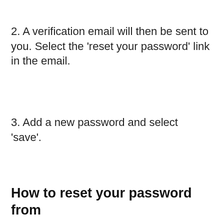2. A verification email will then be sent to you. Select the 'reset your password' link in the email.
3. Add a new password and select 'save'.
How to reset your password from